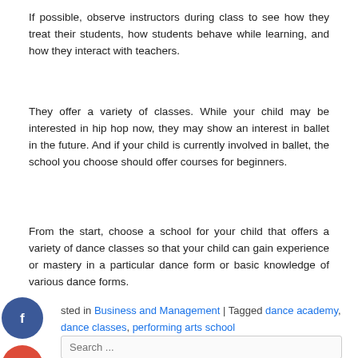If possible, observe instructors during class to see how they treat their students, how students behave while learning, and how they interact with teachers.
They offer a variety of classes. While your child may be interested in hip hop now, they may show an interest in ballet in the future. And if your child is currently involved in ballet, the school you choose should offer courses for beginners.
From the start, choose a school for your child that offers a variety of dance classes so that your child can gain experience or mastery in a particular dance form or basic knowledge of various dance forms.
sted in Business and Management | Tagged dance academy, dance classes, performing arts school
[Figure (other): Social media icon buttons: Facebook (blue circle with f), Google+ (red circle with g+), Twitter (blue circle with bird), Add/Plus (black circle with +)]
Search ...
Categories
Business and Management